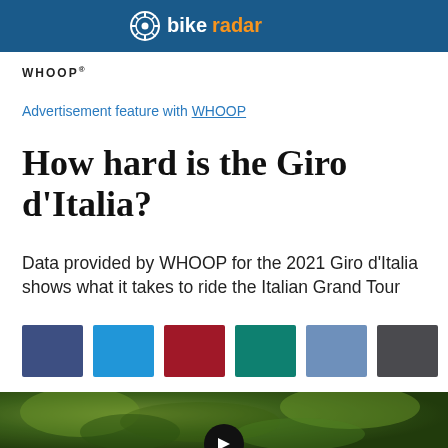bikeradar
WHOOP
Advertisement feature with WHOOP
How hard is the Giro d'Italia?
Data provided by WHOOP for the 2021 Giro d'Italia shows what it takes to ride the Italian Grand Tour
[Figure (illustration): Six color swatches in a row: dark blue, bright blue, dark red, teal, steel blue, dark gray]
[Figure (photo): Blurred green foliage background with a black circular play button overlay]